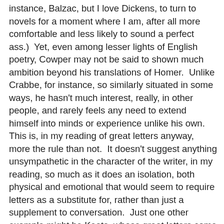instance, Balzac, but I love Dickens, to turn to novels for a moment where I am, after all more comfortable and less likely to sound a perfect ass.)  Yet, even among lesser lights of English poetry, Cowper may not be said to shown much ambition beyond his translations of Homer.  Unlike Crabbe, for instance, so similarly situated in some ways, he hasn't much interest, really, in other people, and rarely feels any need to extend himself into minds or experience unlike his own.  This is, in my reading of great letters anyway, more the rule than not.  It doesn't suggest anything unsympathetic in the character of the writer, in my reading, so much as it does an isolation, both physical and emotional that would seem to require letters as a substitute for, rather than just a supplement to conversation.  Just one other example might be Keats, whose great letters come to us from an equally lonely place.  Keats, however it need hardly be said, was a greater poet for his isolation being less a matter of self-exile than of circumstance.  Cowper's poetry might be called garden verse, even when he took on subjects beyond the view available from his greenhouse.  His metaphors are all within walking distance.   Even Cowper's most famous poem, "The Solitude of Alexander Selkirk," is fundamentally